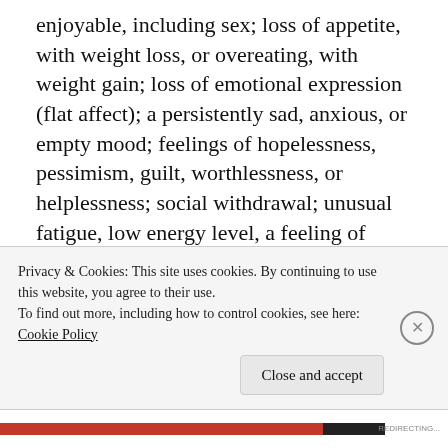enjoyable, including sex; loss of appetite, with weight loss, or overeating, with weight gain; loss of emotional expression (flat affect); a persistently sad, anxious, or empty mood; feelings of hopelessness, pessimism, guilt, worthlessness, or helplessness; social withdrawal; unusual fatigue, low energy level, a feeling of being slowed down; sleep disturbance and insomnia, early-morning awakening or oversleeping; trouble concentrating, remembering, or making decisions; unusual restlessness or irritability; persistent physical problems such as headaches, digestive disorders, or chronic pain that do not respond to treatment, and thoughts of death or suicide or suicide attempts."
Privacy & Cookies: This site uses cookies. By continuing to use this website, you agree to their use. To find out more, including how to control cookies, see here: Cookie Policy